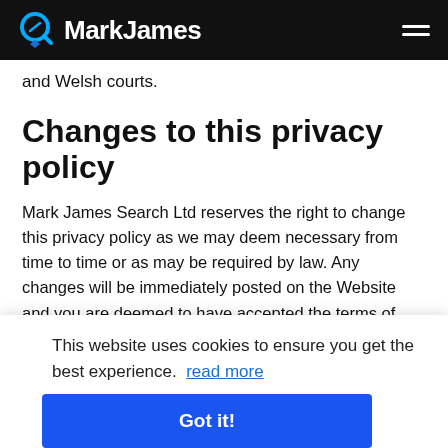MarkJames
and Welsh courts.
Changes to this privacy policy
Mark James Search Ltd reserves the right to change this privacy policy as we may deem necessary from time to time or as may be required by law. Any changes will be immediately posted on the Website and you are deemed to have accepted the terms of
This website uses cookies to ensure you get the best experience. read more
Got it!